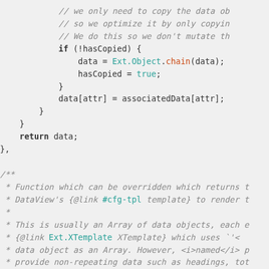Code snippet showing JavaScript source with comments and syntax highlighting